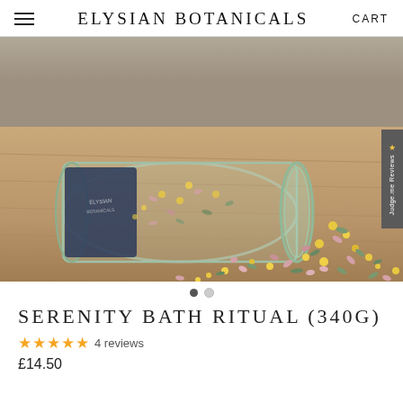ELYSIAN BOTANICALS  CART
[Figure (photo): A glass mason jar on its side on a wooden surface, spilling out dried botanical herbs and flowers including chamomile, rose petals, and green herbs. The jar has a dark blue label partially visible. The botanicals are scattered across the wooden table.]
SERENITY BATH RITUAL (340G)
★★★★★ 4 reviews
£14.50